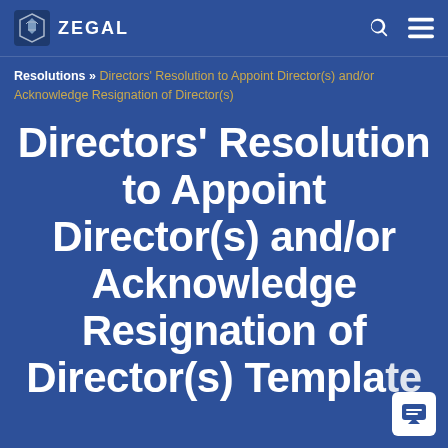ZEGAL
Resolutions » Directors' Resolution to Appoint Director(s) and/or Acknowledge Resignation of Director(s)
Directors' Resolution to Appoint Director(s) and/or Acknowledge Resignation of Director(s) Template